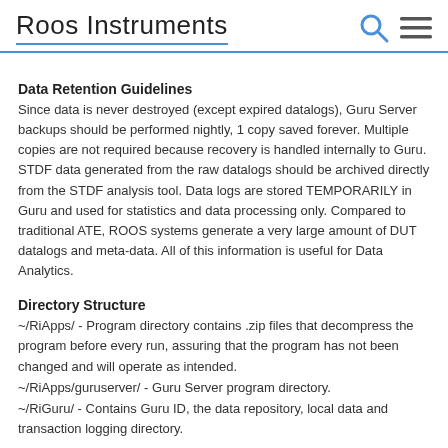Roos Instruments
Data Retention Guidelines
Since data is never destroyed (except expired datalogs), Guru Server backups should be performed nightly, 1 copy saved forever. Multiple copies are not required because recovery is handled internally to Guru. STDF data generated from the raw datalogs should be archived directly from the STDF analysis tool. Data logs are stored TEMPORARILY in Guru and used for statistics and data processing only. Compared to traditional ATE, ROOS systems generate a very large amount of DUT datalogs and meta-data. All of this information is useful for Data Analytics.
Directory Structure
~/RiApps/ - Program directory contains .zip files that decompress the program before every run, assuring that the program has not been changed and will operate as intended.
~/RiApps/guruserver/ - Guru Server program directory.
~/RiGuru/ - Contains Guru ID, the data repository, local data and transaction logging directory.